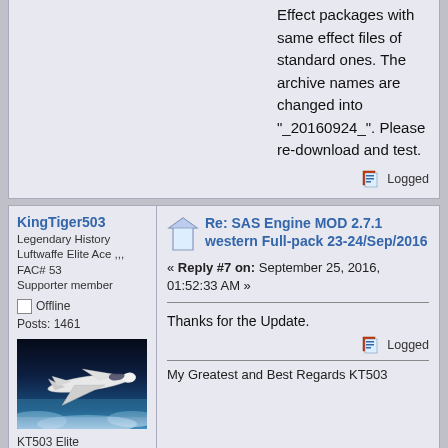Effect packages with same effect files of standard ones. The archive names are changed into "_20160924_". Please re-download and test.
Logged
KingTiger503
Legendary History Luftwaffe Elite Ace ,,, FAC# 53
Supporter member
Offline
Posts: 1461
[Figure (photo): Aircraft photo - white spacecraft or aircraft flying over clouds against dark sky]
KT503 Elite
Re: SAS Engine MOD 2.7.1 western Full-pack 23-24/Sep/2016
« Reply #7 on: September 25, 2016, 01:52:33 AM »
Thanks for the Update.
Logged
My Greatest and Best Regards KT503
KingTiger503
Legendary History Luftwaffe Elite Ace ,,, FAC# 53
Re: SAS Engine MOD 2.7.1